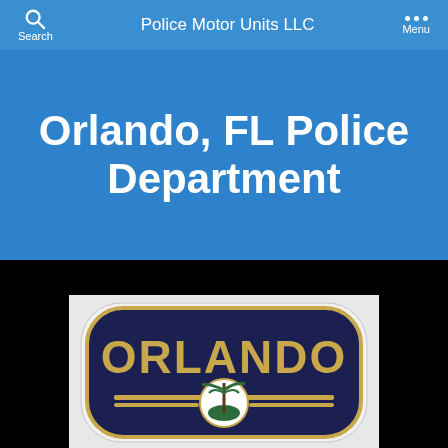Police Motor Units LLC | Search | Menu
Orlando, FL Police Department
[Figure (photo): Orlando Police Department shoulder patch on white background. Dark navy blue patch with gold embroidered text reading ORLANDO and a circular emblem in the center showing a palm tree.]